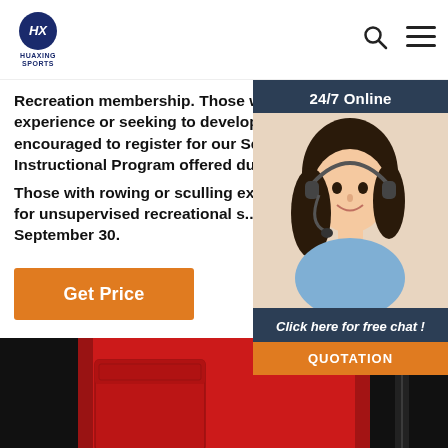HUAXING SPORTS logo, search icon, menu icon
Recreation membership. Those without experience or seeking to develop skills are encouraged to register for our Sculling Instructional Program offered during t... Those with rowing or sculling experien... cleared for unsupervised recreational s... April 1 through September 30.
Get Price
[Figure (photo): Customer service representative with headset, 24/7 Online chat widget with 'Click here for free chat!' and QUOTATION button on dark blue background]
[Figure (photo): Close-up photo of a red and black sports jacket with zipper and chest pocket, showing fabric texture and stitching detail]